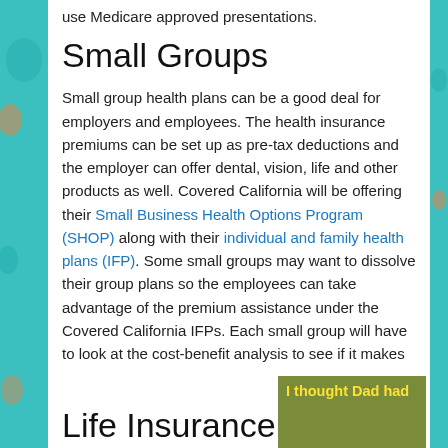use Medicare approved presentations.
Small Groups
Small group health plans can be a good deal for employers and employees. The health insurance premiums can be set up as pre-tax deductions and the employer can offer dental, vision, life and other products as well. Covered California will be offering their Small Business Health Options Program (SHOP) along with their individual and family health plans (IFP). Some small groups may want to dissolve their group plans so the employees can take advantage of the premium assistance under the Covered California IFPs. Each small group will have to look at the cost-benefit analysis to see if it makes sense.
Life Insurance
[Figure (photo): Image with yellow text reading 'I thought Dad had']